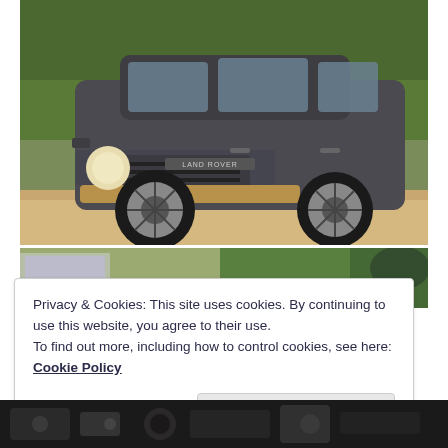[Figure (photo): Land Rover SUV (dark grey/graphite color) parked on a road with green trees in the background, shot from a front three-quarter angle]
[Figure (photo): Partial view of car interior or exterior, green trees visible in background]
Privacy & Cookies: This site uses cookies. By continuing to use this website, you agree to their use.
To find out more, including how to control cookies, see here: Cookie Policy
[Figure (photo): Dark interior shot of car dashboard/controls]